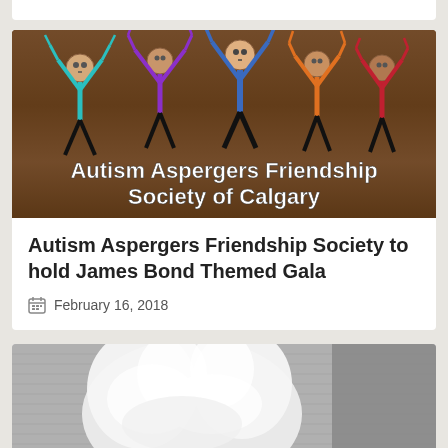[Figure (illustration): Autism Aspergers Friendship Society of Calgary logo with colorful stick figures raising their arms on a wooden background]
Autism Aspergers Friendship Society to hold James Bond Themed Gala
February 16, 2018
[Figure (photo): Close-up photo of a white fluffy cat or animal on a grey knitted/woven background]